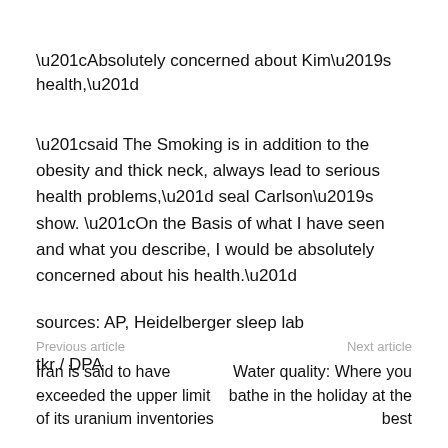“Absolutely concerned about Kim’s health,”
“said The Smoking is in addition to the obesity and thick neck, always lead to serious health problems,” seal Carlson’s show. “On the Basis of what I have seen and what you describe, I would be absolutely concerned about his health.”
sources: AP, Heidelberger sleep lab
tkr / DPA
Previous article | Iran is said to have exceeded the upper limit of its uranium inventories || Next article | Water quality: Where you bathe in the holiday at the best